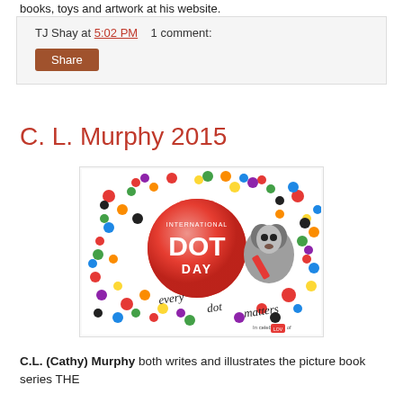books, toys and artwork at his website.
TJ Shay at 5:02 PM    1 comment:
Share
C. L. Murphy 2015
[Figure (illustration): International Dot Day promotional image with colorful dots and a cartoon raccoon holding a marker, text reads 'Every dot matters']
C.L. (Cathy) Murphy both writes and illustrates the picture book series THE